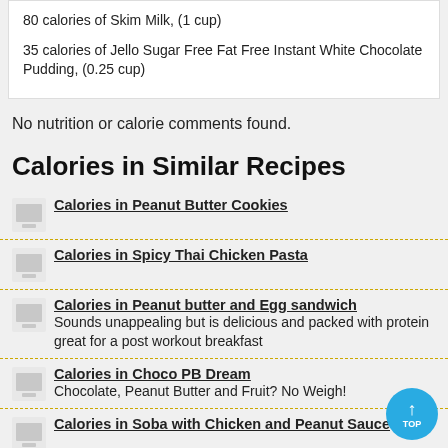80 calories of Skim Milk, (1 cup)
35 calories of Jello Sugar Free Fat Free Instant White Chocolate Pudding, (0.25 cup)
No nutrition or calorie comments found.
Calories in Similar Recipes
Calories in Peanut Butter Cookies
Calories in Spicy Thai Chicken Pasta
Calories in Peanut butter and Egg sandwich — Sounds unappealing but is delicious and packed with protein great for a post workout breakfast
Calories in Choco PB Dream — Chocolate, Peanut Butter and Fruit? No Weigh!
Calories in Soba with Chicken and Peanut Sauce